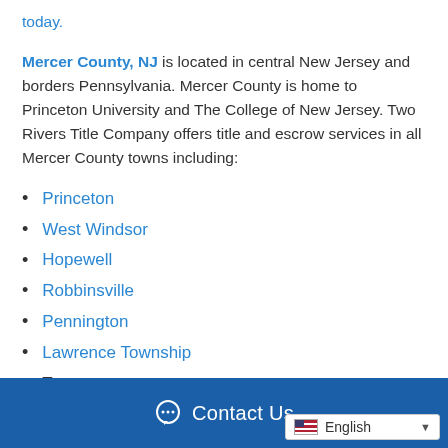today.
Mercer County, NJ is located in central New Jersey and borders Pennsylvania. Mercer County is home to Princeton University and The College of New Jersey. Two Rivers Title Company offers title and escrow services in all Mercer County towns including:
Princeton
West Windsor
Hopewell
Robbinsville
Pennington
Lawrence Township
Trenton
Contact Us